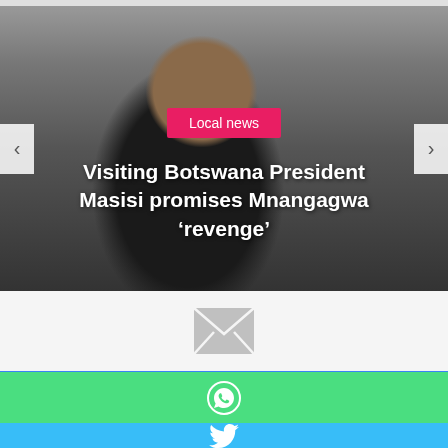[Figure (photo): News article hero image showing a man (Botswana President Masisi) in a dark suit, photographed indoors, with a 'Local news' badge overlay and headline text. Left and right navigation arrows for a carousel slider.]
Visiting Botswana President Masisi promises Mnangagwa ‘revenge’
[Figure (infographic): Email share button with envelope icon on light grey background]
[Figure (infographic): Facebook share button with Facebook icon (f) on blue background]
[Figure (infographic): Twitter share button with Twitter bird icon on light blue background]
[Figure (infographic): WhatsApp share button with WhatsApp icon on green background (partially visible)]